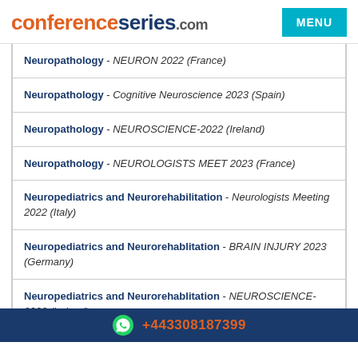conferenceseries.com  MENU
Neuropathology - NEURON 2022 (France)
Neuropathology - Cognitive Neuroscience 2023 (Spain)
Neuropathology - NEUROSCIENCE-2022 (Ireland)
Neuropathology - NEUROLOGISTS MEET 2023 (France)
Neuropediatrics and Neurorehabilitation - Neurologists Meeting 2022 (Italy)
Neuropediatrics and Neurorehablitation - BRAIN INJURY 2023 (Germany)
Neuropediatrics and Neurorehablitation - NEUROSCIENCE-2022 (Ireland)
+443308187399